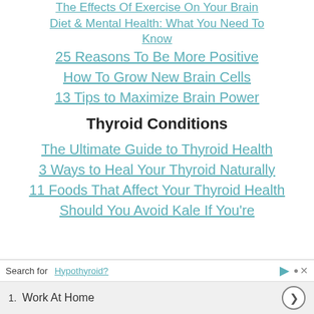The Effects Of Exercise On Your Brain
Diet & Mental Health: What You Need To Know
25 Reasons To Be More Positive
How To Grow New Brain Cells
13 Tips to Maximize Brain Power
Thyroid Conditions
The Ultimate Guide to Thyroid Health
3 Ways to Heal Your Thyroid Naturally
11 Foods That Affect Your Thyroid Health
Should You Avoid Kale If You're Hypothyroid?
Search for  Work At Home